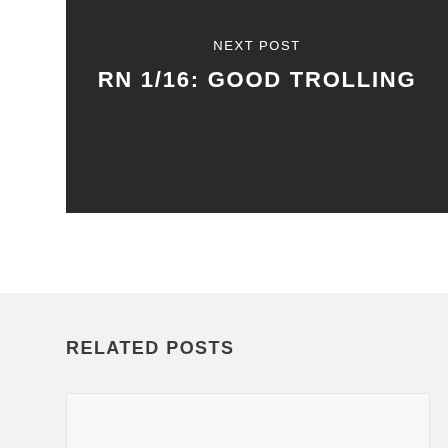NEXT POST
RN 1/16: GOOD TROLLING
RELATED POSTS